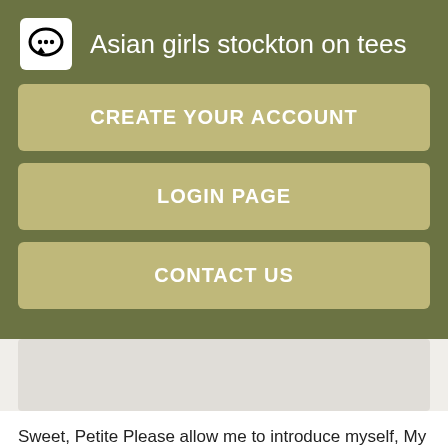Asian girls stockton on tees
CREATE YOUR ACCOUNT
LOGIN PAGE
CONTACT US
Sweet, Petite Please allow me to introduce myself, My name is Hayden Salice. Petite little Fantasy Raina is a dreamboat! I love Hey there, Come see the pretty girl next door type.